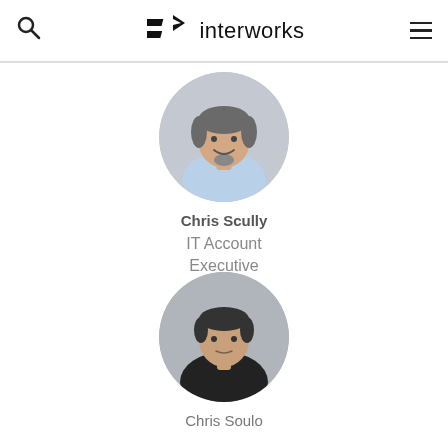interworks
[Figure (photo): Circular profile photo of Chris Scully, a middle-aged man with dark salt-and-pepper hair and a goatee, wearing a light blue shirt, smiling against a light gray background.]
Chris Scully
IT Account Executive
[Figure (photo): Circular profile photo of Chris Soulo, a young man with short dark hair wearing a black shirt, against a gray background.]
Chris Soulo